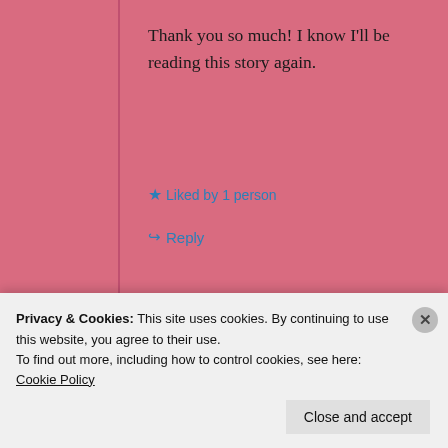Thank you so much! I know I'll be reading this story again.
★ Liked by 1 person
↪ Reply
habit. Post on the go.
GET THE APP
[Figure (logo): WordPress circular logo in light blue rounded square]
Privacy & Cookies: This site uses cookies. By continuing to use this website, you agree to their use.
To find out more, including how to control cookies, see here: Cookie Policy
Close and accept